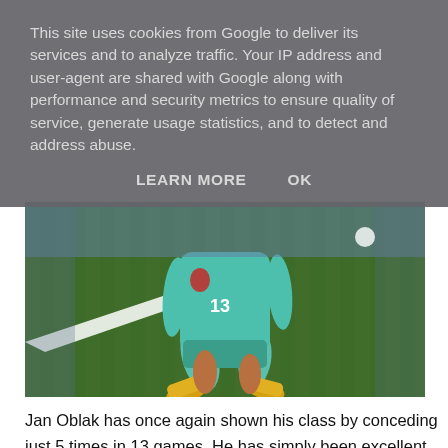This site uses cookies from Google to deliver its services and to analyze traffic. Your IP address and user-agent are shared with Google along with performance and security metrics to ensure quality of service, generate usage statistics, and to detect and address abuse.
LEARN MORE    OK
[Figure (photo): A football/soccer goalkeeper in a teal/cyan kit and yellow boots kneeling on a grass pitch near the white boundary line, with stadium seats visible in background.]
Jan Oblak has once again shown his class by conceding just 5 times in 13 games. He has simply been excellent in this campaign. He's equally been helped by a solid back four in front